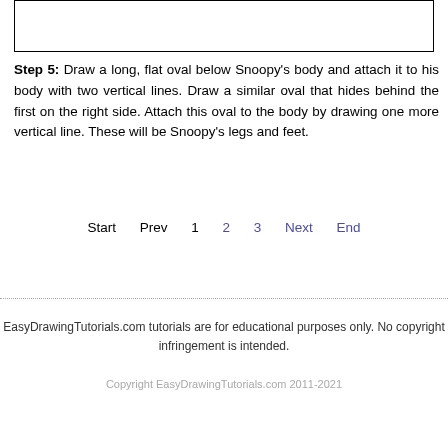[Figure (illustration): A rectangular bordered box showing a partial drawing illustration (top portion of Snoopy drawing step).]
Step 5: Draw a long, flat oval below Snoopy's body and attach it to his body with two vertical lines. Draw a similar oval that hides behind the first on the right side. Attach this oval to the body by drawing one more vertical line. These will be Snoopy's legs and feet.
Start   Prev   1   2   3   Next   End
EasyDrawingTutorials.com tutorials are for educational purposes only. No copyright infringement is intended.
Copyright EasyDrawingTutorials.com 2011-2021